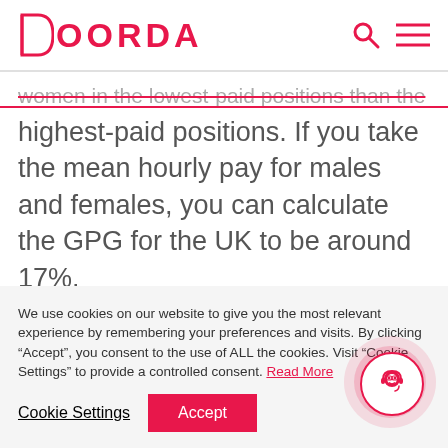DOORDA
women in the lowest-paid positions than the highest-paid positions. If you take the mean hourly pay for males and females, you can calculate the GPG for the UK to be around 17%.
We use cookies on our website to give you the most relevant experience by remembering your preferences and visits. By clicking “Accept”, you consent to the use of ALL the cookies. Visit "Cookie Settings" to provide a controlled consent. Read More
Cookie Settings | Accept